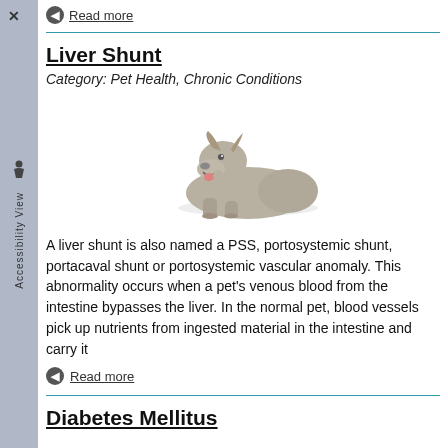Read more
Liver Shunt
Category: Pet Health, Chronic Conditions
[Figure (photo): A large grey dog lying down, facing forward with mouth open, on white background]
A liver shunt is also named a PSS, portosystemic shunt, portacaval shunt or portosystemic vascular anomaly. This abnormality occurs when a pet's venous blood from the intestine bypasses the liver. In the normal pet, blood vessels pick up nutrients from ingested material in the intestine and carry it
Read more
Diabetes Mellitus